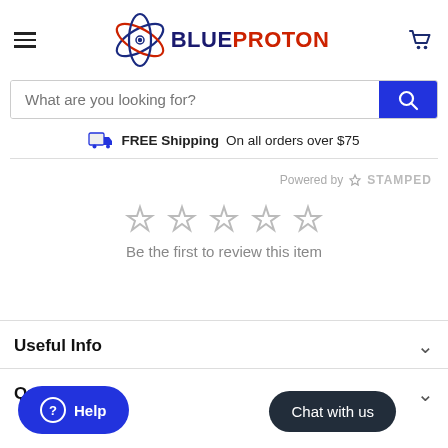BLUEPROTON
What are you looking for?
FREE Shipping On all orders over $75
Powered by STAMPED
Be the first to review this item
Useful Info
Quick links
Help
Chat with us